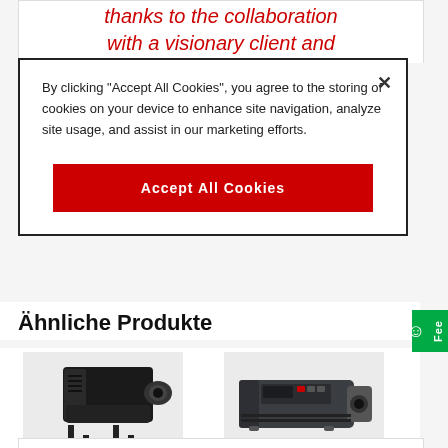thanks to the collaboration with a visionary client and
By clicking "Accept All Cookies", you agree to the storing of cookies on your device to enhance site navigation, analyze site usage, and assist in our marketing efforts.
Accept All Cookies
Ähnliche Produkte
[Figure (photo): DP4K-30L cinema projector, black industrial unit on stand frame]
DP4K-30L
[Figure (photo): XDL-4K60 cinema projector, grey-black compact unit]
XDL-4K60